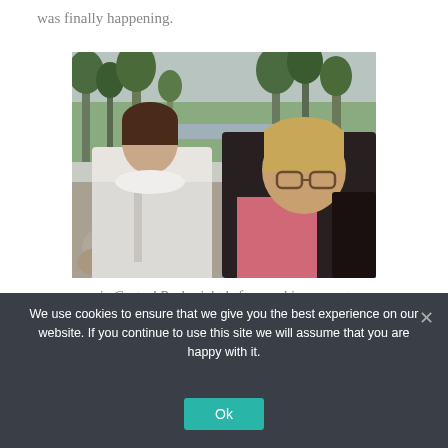was finally happening.
[Figure (photo): Two women smiling together in Central Park, one wearing a white jacket and one wearing a dark jacket with a pink shirt, in a winter park setting with bare trees]
in Central Park, right before my big moment
We use cookies to ensure that we give you the best experience on our website. If you continue to use this site we will assume that you are happy with it.